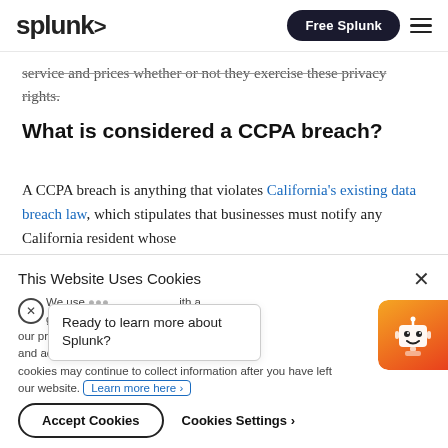splunk>  |  Free Splunk
service and prices whether or not they exercise these privacy rights.
What is considered a CCPA breach?
A CCPA breach is anything that violates California's existing data breach law, which stipulates that businesses must notify any California resident whose
This Website Uses Cookies
We use cookies to provide you with a great online experience, pro our products and services, ns and advertis con cookies may continue to collect information after you have left our website. Learn more here ›
Ready to learn more about Splunk?
Accept Cookies   Cookies Settings ›